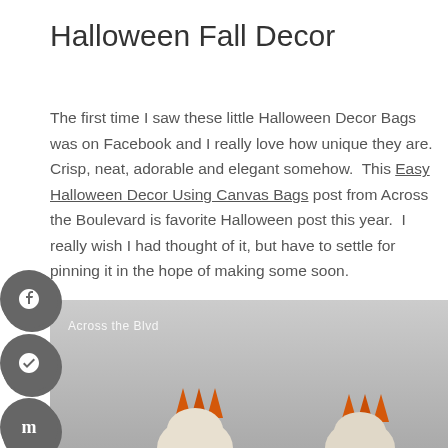Halloween Fall Decor
The first time I saw these little Halloween Decor Bags was on Facebook and I really love how unique they are.  Crisp, neat, adorable and elegant somehow.  This Easy Halloween Decor Using Canvas Bags post from Across the Boulevard is favorite Halloween post this year.  I really wish I had thought of it, but have to settle for pinning it in the hope of making some soon.
[Figure (photo): Photo showing Halloween canvas bags shaped like foxes or pumpkins with orange pointed tops, on a gray background. Watermark reads 'Across the Blvd'.]